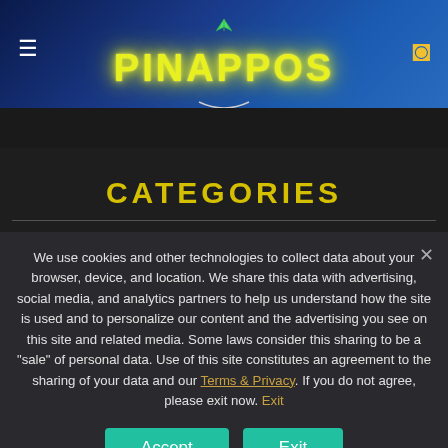PINAPPOS
CATEGORIES
ENTERTAINMENT
We use cookies and other technologies to collect data about your browser, device, and location. We share this data with advertising, social media, and analytics partners to help us understand how the site is used and to personalize our content and the advertising you see on this site and related media. Some laws consider this sharing to be a "sale" of personal data. Use of this site constitutes an agreement to the sharing of your data and our Terms & Privacy. If you do not agree, please exit now. Exit